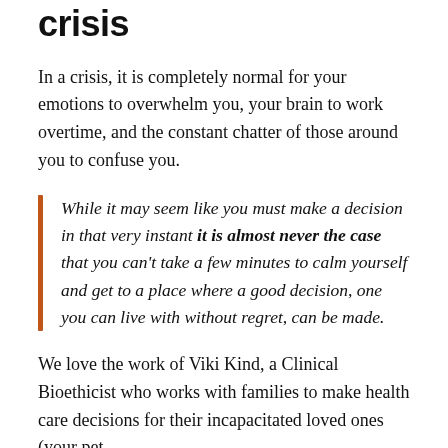crisis
In a crisis, it is completely normal for your emotions to overwhelm you, your brain to work overtime, and the constant chatter of those around you to confuse you.
While it may seem like you must make a decision in that very instant it is almost never the case that you can't take a few minutes to calm yourself and get to a place where a good decision, one you can live with without regret, can be made.
We love the work of Viki Kind, a Clinical Bioethicist who works with families to make health care decisions for their incapacitated loved ones (your pet